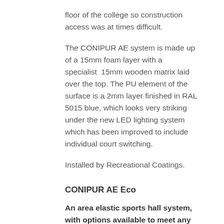floor of the college so construction access was at times difficult.
The CONIPUR AE system is made up of a 15mm foam layer with a specialist 15mm wooden matrix laid over the top. The PU element of the surface is a 2mm layer finished in RAL 5015 blue, which looks very striking under the new LED lighting system which has been improved to include individual court switching.
Installed by Recreational Coatings.
CONIPUR AE Eco
An area elastic sports hall system, with options available to meet any need